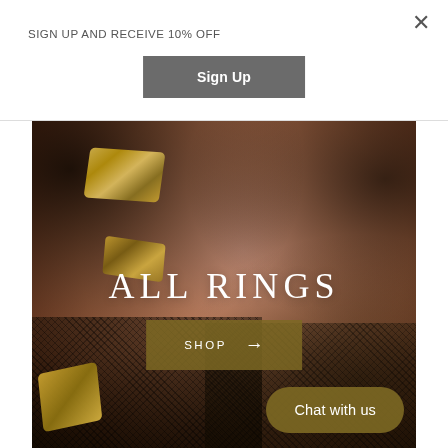SIGN UP AND RECEIVE 10% OFF
×
Sign Up
[Figure (photo): Close-up photo of a woman's hands wearing geometric gold rings, with textured dark fabric clothing and bare skin visible. Overlay text reads ALL RINGS with a gold SHOP button with arrow.]
ALL RINGS
SHOP →
Chat with us